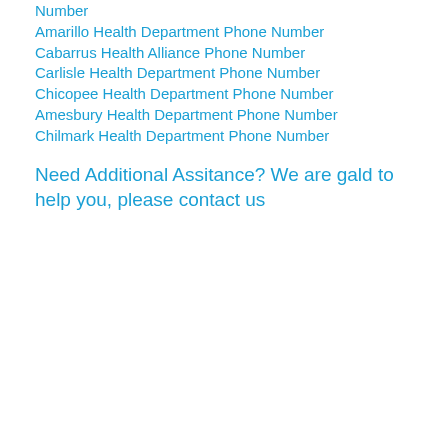Number
Amarillo Health Department Phone Number
Cabarrus Health Alliance Phone Number
Carlisle Health Department Phone Number
Chicopee Health Department Phone Number
Amesbury Health Department Phone Number
Chilmark Health Department Phone Number
Need Additional Assitance? We are gald to help you, please contact us